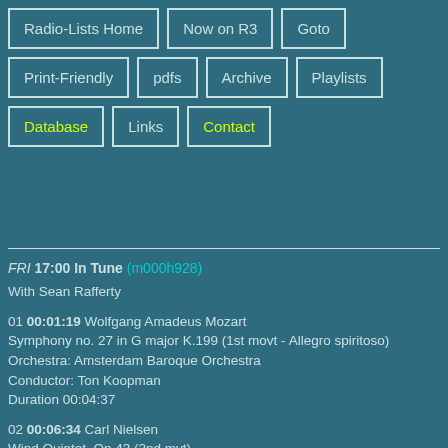Radio-Lists Home
Now on R3
Goto
Print-Friendly
pdfs
Archive
Playlists
Database
Links
Contact
FRI 17:00 In Tune (m000h928)
With Sean Rafferty
01 00:01:19 Wolfgang Amadeus Mozart
Symphony no. 27 in G major K.199 (1st movt - Allegro spiritoso)
Orchestra: Amsterdam Baroque Orchestra
Conductor: Ton Koopman
Duration 00:04:37
02 00:06:34 Carl Nielsen
Wind Quintet, Op 43 (2nd mvt)
Performer: James Galway
Performer: Bjorn Carl Nielsen
Performer: Niels Thomsen